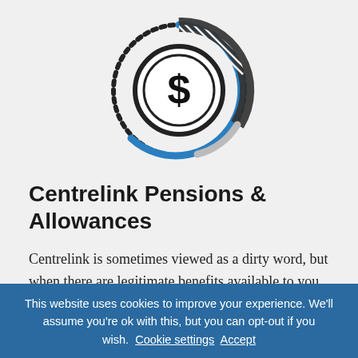[Figure (illustration): Circular icon showing a dollar sign coin surrounded by dotted ring and partial arcs in blue, dark grey/hatched, and light grey — resembling a pie/donut chart with a currency symbol in the center.]
Centrelink Pensions & Allowances
Centrelink is sometimes viewed as a dirty word, but when there are legitimate benefits available to you, often people are surprised the difference it can make in the grand scheme of things. After all, you've paid for it in tax your entire life; it's your right to
This website uses cookies to improve your experience. We'll assume you're ok with this, but you can opt-out if you wish. Cookie settings Accept